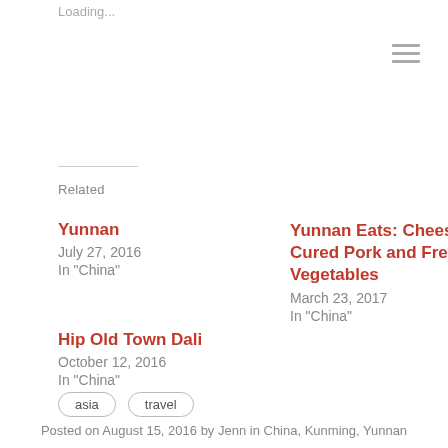Loading...
Related
Yunnan
July 27, 2016
In "China"
Yunnan Eats: Cheese, Cured Pork and Fresh Vegetables
March 23, 2017
In "China"
Hip Old Town Dali
October 12, 2016
In "China"
asia
travel
Posted on August 15, 2016 by Jenn in China, Kunming, Yunnan